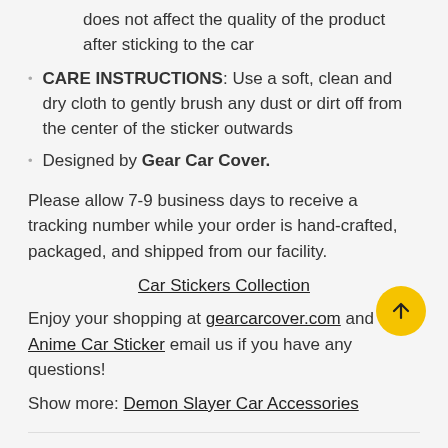does not affect the quality of the product after sticking to the car
CARE INSTRUCTIONS: Use a soft, clean and dry cloth to gently brush any dust or dirt off from the center of the sticker outwards
Designed by Gear Car Cover.
Please allow 7-9 business days to receive a tracking number while your order is hand-crafted, packaged, and shipped from our facility.
Car Stickers Collection
Enjoy your shopping at gearcarcover.com and Anime Car Sticker email us if you have any questions!
Show more: Demon Slayer Car Accessories
RETURN & WARRANTY